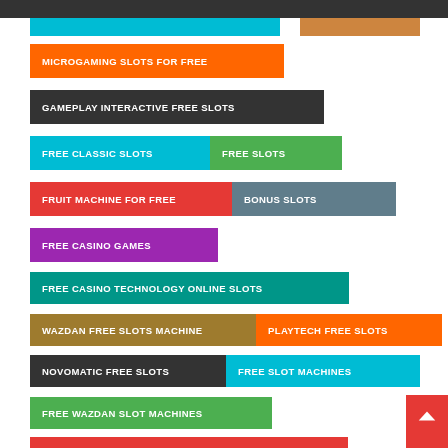MICROGAMING SLOTS FOR FREE
GAMEPLAY INTERACTIVE FREE SLOTS
FREE CLASSIC SLOTS
FREE SLOTS
FRUIT MACHINE FOR FREE
BONUS SLOTS
FREE CASINO GAMES
FREE CASINO TECHNOLOGY ONLINE SLOTS
WAZDAN FREE SLOTS MACHINE
PLAYTECH FREE SLOTS
NOVOMATIC FREE SLOTS
FREE SLOT MACHINES
FREE WAZDAN SLOT MACHINES
FREE GAMEPLAY INTERACTIVE ONLINE SLOTS
FREE SLOTS NO DOWNLOAD
FREE PLAYTECH ONLINE SLOTS
FREE HABANERO SLOTS